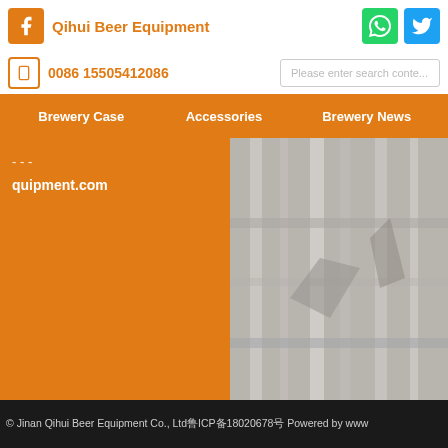Qihui Beer Equipment
0086 15505412086
Please enter search content
Brewery Case   Accessories   Brewery News
equipment.com
[Figure (photo): Blurred photo of beer brewing equipment/tanks]
© Jinan Qihui Beer Equipment Co., Ltd鲁ICP备18020678号 Powered by www